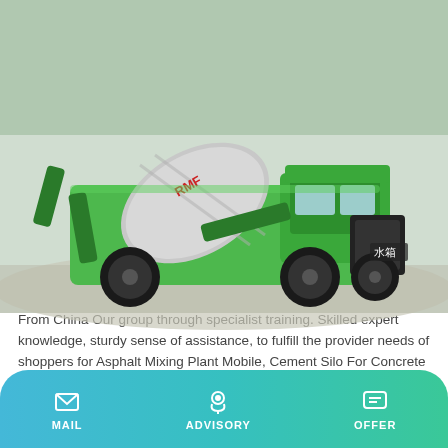[Figure (photo): Green self-loading concrete mixer truck / mobile asphalt mixing plant machine on a construction site with gravel in the background. Chinese characters visible on the side.]
China Asphalt Mixing Plant Mobile Manufacturer And
Asphalt Mixing Plant Mobile - Manufacturers, Factory, Suppliers From China Our group through specialist training. Skilled expert knowledge, sturdy sense of assistance, to fulfill the provider needs of shoppers for Asphalt Mixing Plant Mobile, Cement Silo For Concrete Batching Plant, Asphalt Batch Mix Plant, Concrete Mixer Plant, For more info, be sure to call us as shortly as possible!
Learn More
MAIL   ADVISORY   OFFER